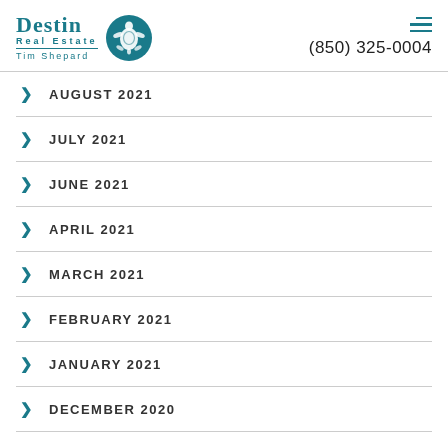[Figure (logo): Destin Real Estate Tim Shepard logo with teal turtle circle icon]
AUGUST 2021
JULY 2021
JUNE 2021
APRIL 2021
MARCH 2021
FEBRUARY 2021
JANUARY 2021
DECEMBER 2020